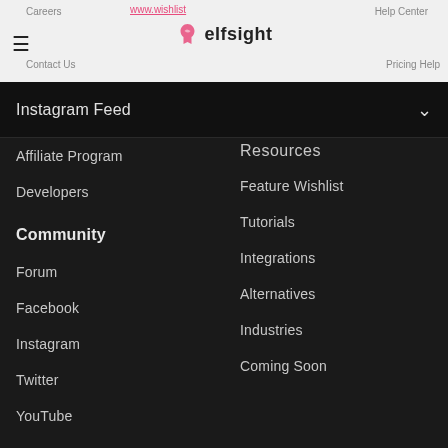Careers  Help Center  Contact Us  Pricing Help
[Figure (logo): Elfsight logo with pink icon and text]
Instagram Feed
Affiliate Program
Developers
Community
Forum
Facebook
Instagram
Twitter
YouTube
Resources
Feature Wishlist
Tutorials
Integrations
Alternatives
Industries
Coming Soon